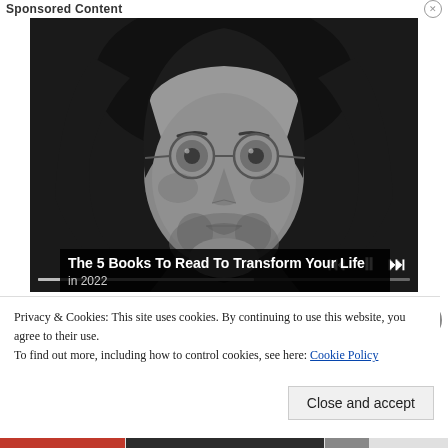Sponsored Content
[Figure (photo): Black and white close-up portrait of a young man with long hair and round glasses, looking slightly upward. Media player controls (skip back, pause, skip forward) and a progress bar are overlaid at the bottom.]
The 5 Books To Read To Transform Your Life in 2022
Privacy & Cookies: This site uses cookies. By continuing to use this website, you agree to their use.
To find out more, including how to control cookies, see here: Cookie Policy
Close and accept